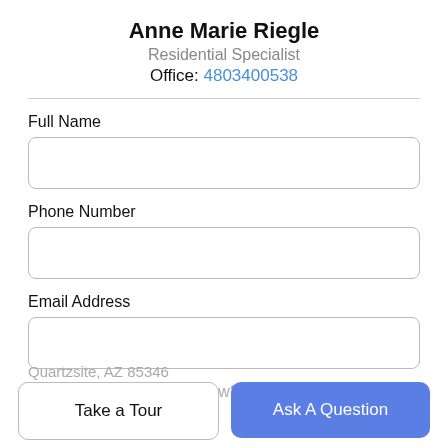Anne Marie Riegle
Residential Specialist
Office: 4803400538
Full Name
Phone Number
Email Address
What would you like to know?
Take a Tour
Ask A Question
Quartzsite, AZ 85346